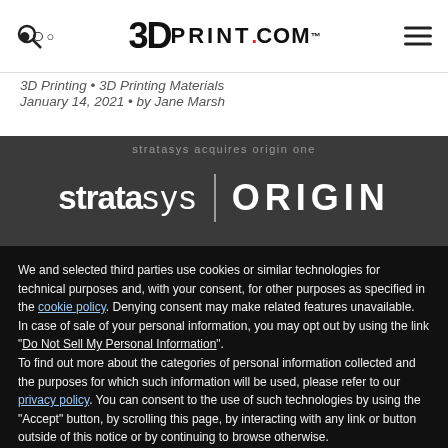3DPRINT.COM
3D Printing • 3D Printing Materials
January 14, 2021 • by Jane Marsh
[Figure (logo): Stratasys | Origin logo on dark grey background]
We and selected third parties use cookies or similar technologies for technical purposes and, with your consent, for other purposes as specified in the cookie policy. Denying consent may make related features unavailable.
In case of sale of your personal information, you may opt out by using the link "Do Not Sell My Personal Information".
To find out more about the categories of personal information collected and the purposes for which such information will be used, please refer to our privacy policy. You can consent to the use of such technologies by using the "Accept" button, by scrolling this page, by interacting with any link or button outside of this notice or by continuing to browse otherwise.
Reject
Accept
Learn more and customize